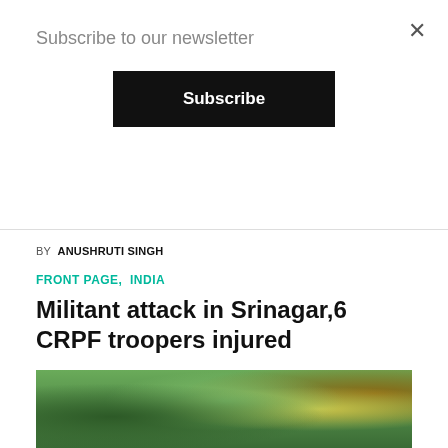Subscribe to our newsletter
Subscribe
×
BY ANUSHRUTI SINGH
FRONT PAGE,  INDIA
Militant attack in Srinagar,6 CRPF troopers injured
At least six Central Reserve Police Force (CRPF) troopers were injured in a militant attack near Srinagar's Jama...
BY AARTI BALI
[Figure (photo): Outdoor scene with trees and people, partial view of an article image]